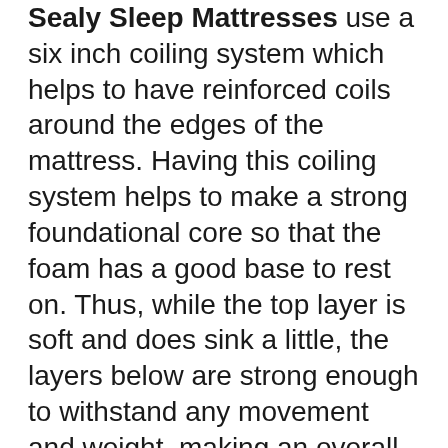Sealy Sleep Mattresses use a six inch coiling system which helps to have reinforced coils around the edges of the mattress. Having this coiling system helps to make a strong foundational core so that the foam has a good base to rest on. Thus, while the top layer is soft and does sink a little, the layers below are strong enough to withstand any movement and weight, making an overall sturdy structure.
If you don't intend on opening the packaging of your mattress immediately, you can keep it packaged for a span of 90 days (from the order date)!